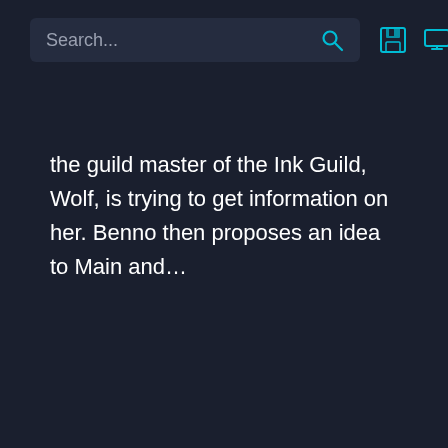Search...
the guild master of the Ink Guild, Wolf, is trying to get information on her. Benno then proposes an idea to Main and…